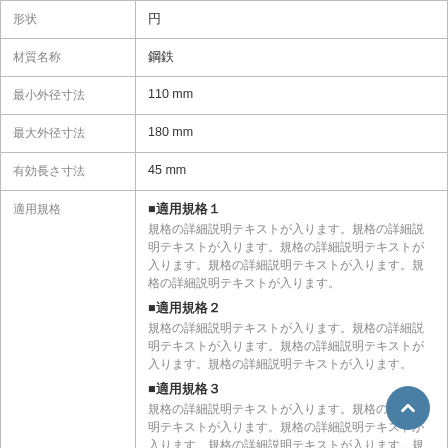| 属性 | 値 |
| --- | --- |
| 形状 | 円 |
| 材質名称 | 鋼鉄 |
| 最小外径寸法 | 110 mm |
| 最大外径寸法 | 180 mm |
| 有効長さ寸法 | 45 mm |
| 適用規格 | ■適用規格１
規格の詳細説明テキストが入ります。規格の詳細説明テキストが入ります。規格の詳細説明テキストが入ります。
■適用規格２
規格の詳細説明テキストが入ります。規格の詳細説明テキストが入ります。
■適用規格３
規格の詳細説明テキストが入ります。規格の詳細説明テキストが入ります。規格の詳細説明テキストが入ります。規格の詳細説明テキストが入ります。
■適用規格４ |